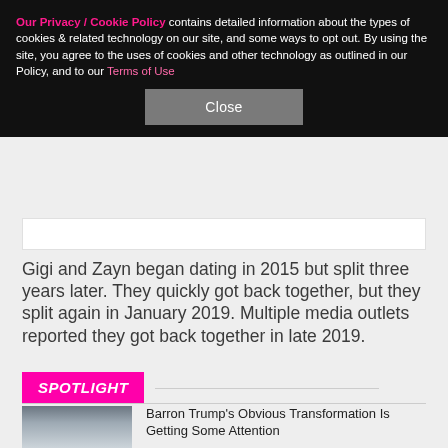Our Privacy / Cookie Policy contains detailed information about the types of cookies & related technology on our site, and some ways to opt out. By using the site, you agree to the uses of cookies and other technology as outlined in our Policy, and to our Terms of Use
Close
Gigi and Zayn began dating in 2015 but split three years later. They quickly got back together, but they split again in January 2019. Multiple media outlets reported they got back together in late 2019.
SPOTLIGHT
[Figure (photo): Young male person, portrait photo, dark hair]
Barron Trump's Obvious Transformation Is Getting Some Attention